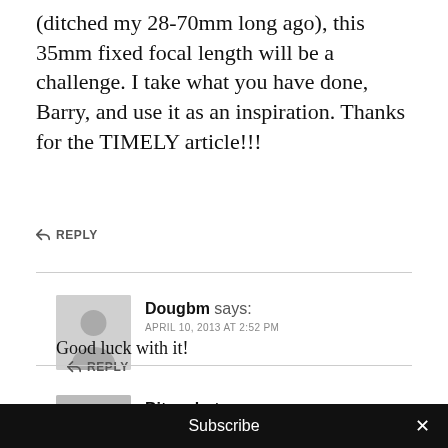(ditched my 28-70mm long ago), this 35mm fixed focal length will be a challenge. I take what you have done, Barry, and use it as an inspiration. Thanks for the TIMELY article!!!
↩ REPLY
Dougbm says:
APRIL 10, 2013 AT 2:52 PM
Good luck with it!
↩ REPLY
Bitanphoto says:
Subscribe